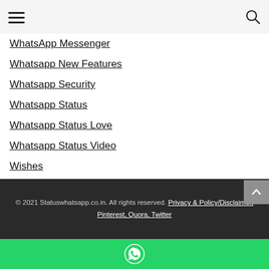[hamburger menu icon] [search icon]
WhatsApp Messenger
Whatsapp New Features
Whatsapp Security
Whatsapp Status
Whatsapp Status Love
Whatsapp Status Video
Wishes
Work From Home
© 2021 Statuswhatsapp.co.in. All rights reserved. Privacy & Policy/Disclaimer, Pinterest, Quora, Twitter